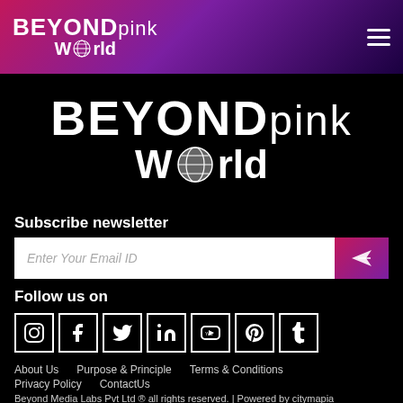BEYONDpink World
[Figure (logo): BEYONDpink World large logo on black background]
Subscribe newsletter
Enter Your Email ID
Follow us on
[Figure (other): Social media icons: Instagram, Facebook, Twitter, LinkedIn, YouTube, Pinterest, Tumblr]
About Us   Purpose & Principle   Terms & Conditions
Privacy Policy   ContactUs
Beyond Media Labs Pvt Ltd ® all rights reserved. | Powered by citymapia